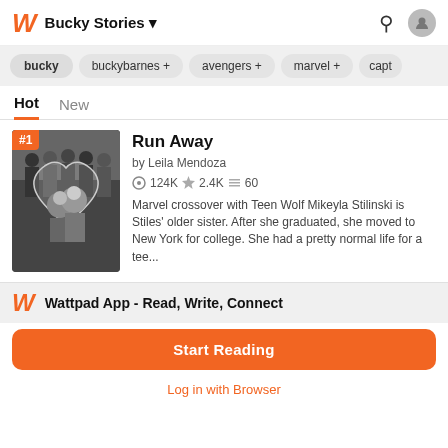Bucky Stories
bucky
buckybarnes +
avengers +
marvel +
capt
Hot  New
Run Away
by Leila Mendoza
124K  2.4K  60
Marvel crossover with Teen Wolf Mikeyla Stilinski is Stiles' older sister. After she graduated, she moved to New York for college. She had a pretty normal life for a tee...
Wattpad App - Read, Write, Connect
Start Reading
Log in with Browser